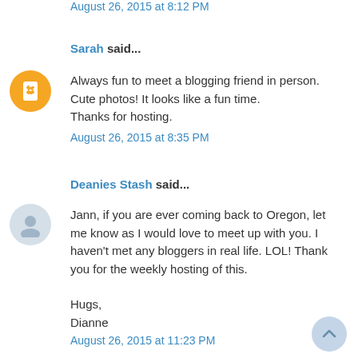August 26, 2015 at 8:12 PM
Sarah said...
Always fun to meet a blogging friend in person. Cute photos! It looks like a fun time. Thanks for hosting.
August 26, 2015 at 8:35 PM
Deanies Stash said...
Jann, if you are ever coming back to Oregon, let me know as I would love to meet up with you. I haven't met any bloggers in real life. LOL! Thank you for the weekly hosting of this.

Hugs,
Dianne
August 26, 2015 at 11:23 PM